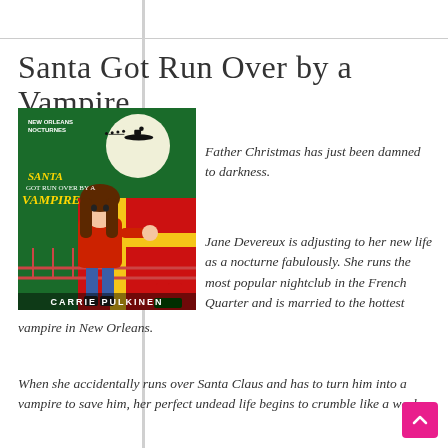Santa Got Run Over by a Vampire
[Figure (illustration): Book cover for 'Santa Got Run Over by a Vampire' by Carrie Pulkinen. Features a cartoon woman with long brown hair in a red top and jeans, a large red present, a full moon with Santa's sleigh silhouette, and a Christmas-themed nightclub bridge scene. Green and red background. Series: New Orleans Nocturnes.]
Father Christmas has just been damned to darkness.
Jane Devereux is adjusting to her new life as a nocturne fabulously. She runs the most popular nightclub in the French Quarter and is married to the hottest vampire in New Orleans.
When she accidentally runs over Santa Claus and has to turn him into a vampire to save him, her perfect undead life begins to crumble like a week-